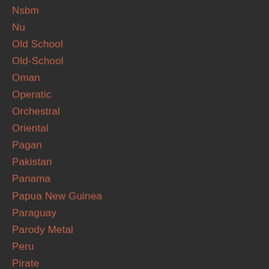Nsbm
Nu
Old School
Old-School
Oman
Operatic
Orchestral
Oriental
Pagan
Pakistan
Panama
Papua New Guinea
Paraguay
Parody Metal
Peru
Pirate
Poland
Pop Metal
Portugal
Post Hardcore
Post Metal